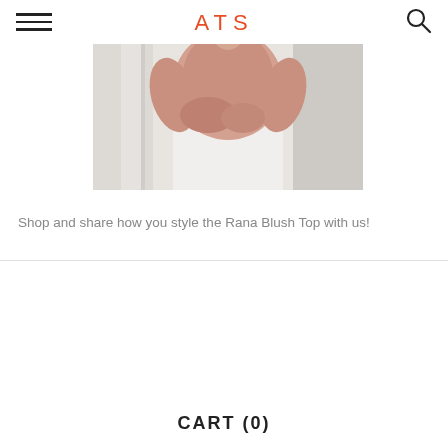ATS
[Figure (photo): A woman wearing a blush pink long-sleeve top and white wide-leg pants, holding the fabric at her waist. Soft light background.]
Shop and share how you style the Rana Blush Top with us!
CART (0)